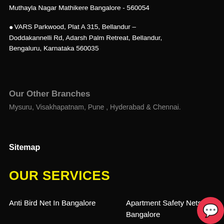Muthayla Nagar Mathikere Bangalore - 560054
VARS Parkwood, Plat A 315, Bellandur - Doddakannelli Rd, Adarsh Palm Retreat, Bellandur, Bengaluru, Karnataka 560035
Our Other Branches
Mysuru, Visakhapatnam, Pune , Hyderabad & Chennai.
Sitemap
OUR SERVICES
Anti Bird Net In Bangalore
Apartment Safety Nets In Bangalore